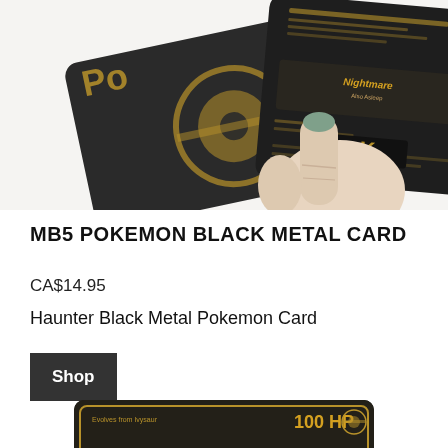[Figure (photo): Hand holding black metal Pokemon cards with gold Pokemon logo and text, fanned out against white background]
MB5 POKEMON BLACK METAL CARD
CA$14.95
Haunter Black Metal Pokemon Card
Shop
[Figure (photo): Bottom portion of a black metal Pokemon card for Venusaur showing 100 HP and gold text]